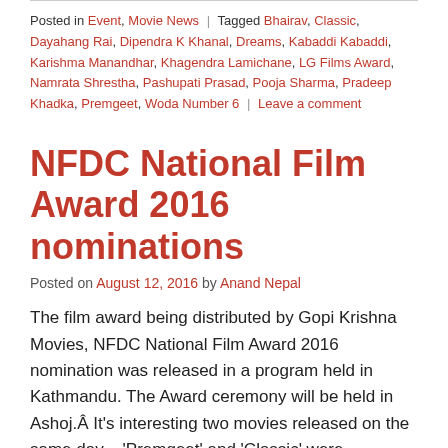Posted in Event, Movie News | Tagged Bhairav, Classic, Dayahang Rai, Dipendra K Khanal, Dreams, Kabaddi Kabaddi, Karishma Manandhar, Khagendra Lamichane, LG Films Award, Namrata Shrestha, Pashupati Prasad, Pooja Sharma, Pradeep Khadka, Premgeet, Woda Number 6 | Leave a comment
NFDC National Film Award 2016 nominations
Posted on August 12, 2016 by Anand Nepal
The film award being distributed by Gopi Krishna Movies, NFDC National Film Award 2016 nomination was released in a program held in Kathmandu. The Award ceremony will be held in Ashoj.Â It's interesting two movies released on the same day – ‘Premgeet’ and ‘Classic’ were nominated in the most number of awards – 11 categories each. ‘Pashupati Prasad’ and ‘Woda Number 6’ each were nominated in 8 different categories and ‘Kabaddi Kabaddi’ was nominated in 7 categories.